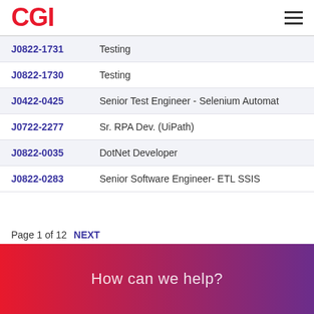CGI
J0822-1731  Testing
J0822-1730  Testing
J0422-0425  Senior Test Engineer - Selenium Automat
J0722-2277  Sr. RPA Dev. (UiPath)
J0822-0035  DotNet Developer
J0822-0283  Senior Software Engineer- ETL SSIS
Page 1 of 12  NEXT
How can we help?